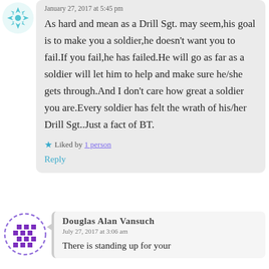January 27, 2017 at 5:45 pm
As hard and mean as a Drill Sgt. may seem,his goal is to make you a soldier,he doesn’t want you to fail.If you fail,he has failed.He will go as far as a soldier will let him to help and make sure he/she gets through.And I don’t care how great a soldier you are.Every soldier has felt the wrath of his/her Drill Sgt..Just a fact of BT.
Liked by 1 person
Reply
Douglas Alan Vansuch
July 27, 2017 at 3:06 am
There is standing up for your